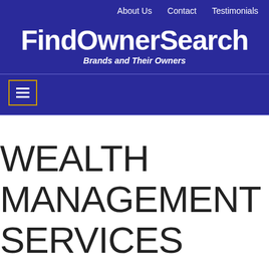About Us   Contact   Testimonials
FindOwnerSearch
Brands and Their Owners
WEALTH MANAGEMENT SERVICES